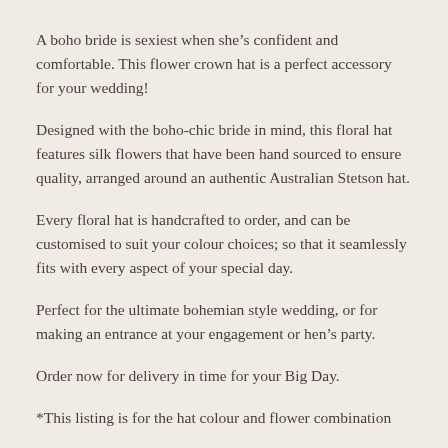A boho bride is sexiest when she’s confident and comfortable. This flower crown hat is a perfect accessory for your wedding!
Designed with the boho-chic bride in mind, this floral hat features silk flowers that have been hand sourced to ensure quality, arranged around an authentic Australian Stetson hat.
Every floral hat is handcrafted to order, and can be customised to suit your colour choices; so that it seamlessly fits with every aspect of your special day.
Perfect for the ultimate bohemian style wedding, or for making an entrance at your engagement or hen’s party.
Order now for delivery in time for your Big Day.
*This listing is for the hat colour and flower combination